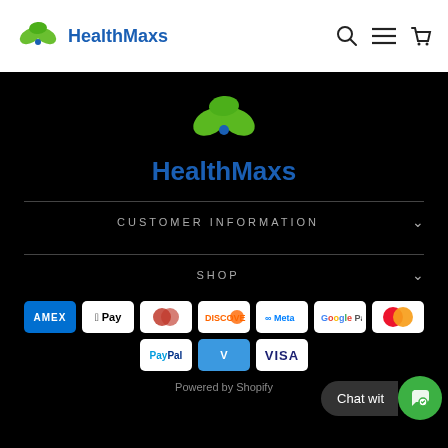[Figure (logo): HealthMaxs logo with green leaf icon and blue text in nav bar]
[Figure (logo): HealthMaxs logo with green leaf icon and blue text on black background footer]
CUSTOMER INFORMATION
SHOP
[Figure (other): Payment method badges: American Express, Apple Pay, Diners Club, Discover, Meta Pay, Google Pay, Mastercard, PayPal, Venmo, Visa]
Powered by Shopify